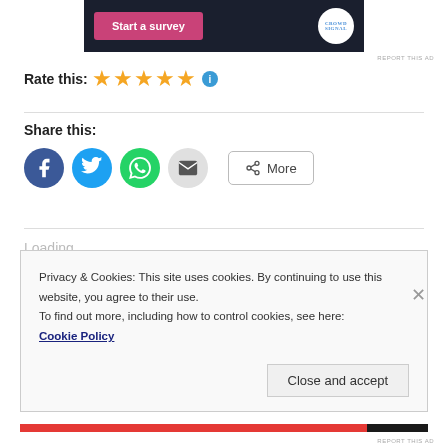[Figure (screenshot): Dark ad banner with 'Start a survey' pink button and CrowdSignal logo circle]
REPORT THIS AD
Rate this: ★★★★★ ℹ
Share this:
[Figure (infographic): Social share icons: Facebook (blue circle), Twitter (blue circle), WhatsApp (green circle), Email (grey circle), and More button]
Loading...
Privacy & Cookies: This site uses cookies. By continuing to use this website, you agree to their use.
To find out more, including how to control cookies, see here:
Cookie Policy
Close and accept
REPORT THIS AD